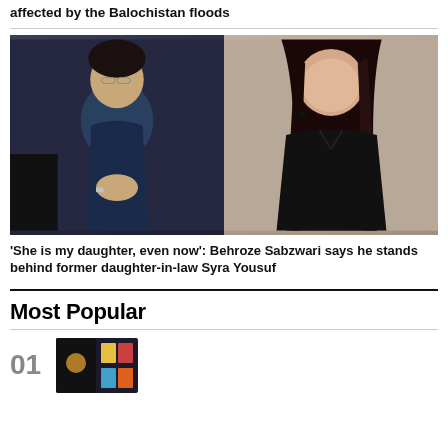affected by the Balochistan floods
[Figure (photo): Split image: left shows an older man in a dark blue shirt with hands clasped, right shows a young woman with long dark hair wearing a black leather jacket]
'She is my daughter, even now': Behroze Sabzwari says he stands behind former daughter-in-law Syra Yousuf
Most Popular
[Figure (photo): Thumbnail image, partially visible, showing a dimly lit scene with colorful elements at right]